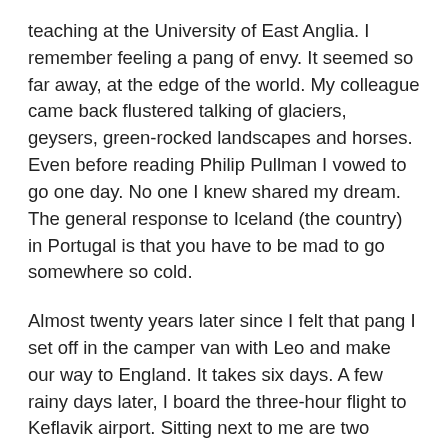teaching at the University of East Anglia. I remember feeling a pang of envy. It seemed so far away, at the edge of the world. My colleague came back flustered talking of glaciers, geysers, green-rocked landscapes and horses. Even before reading Philip Pullman I vowed to go one day. No one I knew shared my dream. The general response to Iceland (the country) in Portugal is that you have to be mad to go somewhere so cold.
Almost twenty years later since I felt that pang I set off in the camper van with Leo and make our way to England. It takes six days. A few rainy days later, I board the three-hour flight to Keflavik airport. Sitting next to me are two young men who have hitched from the French Pyrenees to London to get the flight. It has taken them three days. They plan to camp in a lava field and watch the northern lights from their sleeping bags. It is okay, they tell me. Their sleeping bags can cope with -15. I am pleased I am not that mad. As we fly north the seas flatten out and the clouds slowly disperse. We scribble in notebooks and look out the window as Iceland comes into view. The tips of volcanoes